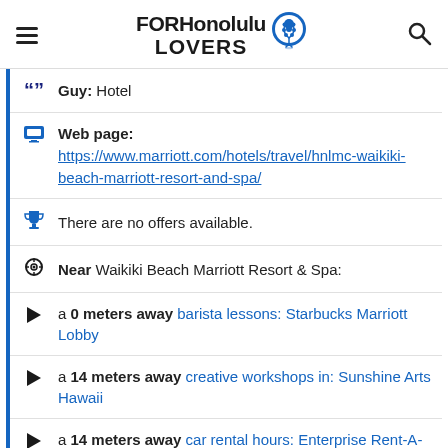FORHonolulu LOVERS
Guy: Hotel
Web page: https://www.marriott.com/hotels/travel/hnlmc-waikiki-beach-marriott-resort-and-spa/
There are no offers available.
Near Waikiki Beach Marriott Resort & Spa:
a 0 meters away barista lessons: Starbucks Marriott Lobby
a 14 meters away creative workshops in: Sunshine Arts Hawaii
a 14 meters away car rental hours: Enterprise Rent-A-Car
Are you the owner of the business? PROMOTE